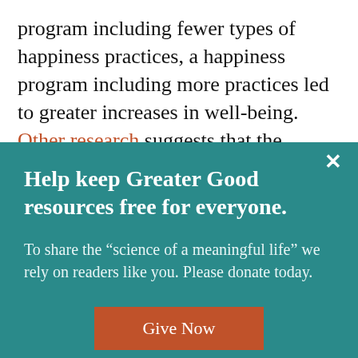program including fewer types of happiness practices, a happiness program including more practices led to greater increases in well-being. Other research suggests that the people in happiness programs who choose to engage in
Help keep Greater Good resources free for everyone.
To share the “science of a meaningful life” we rely on readers like you. Please donate today.
Give Now